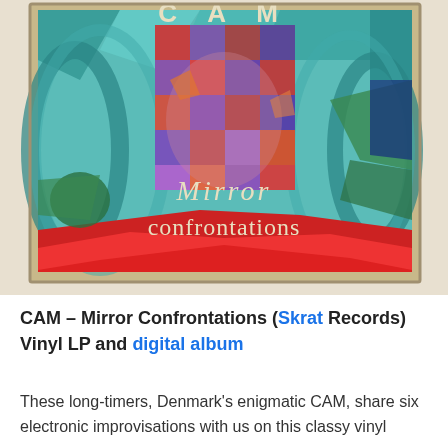[Figure (illustration): Album cover art for CAM – Mirror Confrontations. A colorful abstract painting with geometric shapes in teal, blue, green, red, orange and purple. The center features a cubist-style figure. Text on the artwork reads 'CAM' at the top and 'Mirror Confrontations' across the lower portion in cream-colored letters. The painting is displayed framed on a white wall.]
CAM – Mirror Confrontations (Skrat Records) Vinyl LP and digital album
These long-timers, Denmark's enigmatic CAM, share six electronic improvisations with us on this classy vinyl